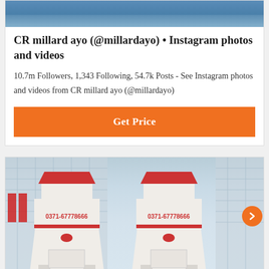[Figure (photo): Top portion of image cropped at the top of the page - appears to be a social media or website screenshot showing people]
CR millard ayo (@millardayo) • Instagram photos and videos
10.7m Followers, 1,343 Following, 54.7k Posts - See Instagram photos and videos from CR millard ayo (@millardayo)
[Figure (other): Orange Get Price button]
[Figure (photo): Industrial machinery photo showing two white mill/grinder machines with red tops and phone number 0371-67778666 printed on them, in front of a large factory building]